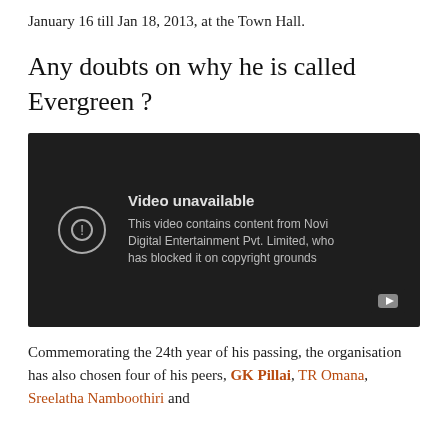January 16 till Jan 18, 2013, at the Town Hall.
Any doubts on why he is called Evergreen ?
[Figure (screenshot): Embedded YouTube video showing 'Video unavailable' message. Text reads: 'Video unavailable. This video contains content from Novi Digital Entertainment Pvt. Limited, who has blocked it on copyright grounds']
Commemorating the 24th year of his passing, the organisation has also chosen four of his peers, GK Pillai, TR Omana, Sreelatha Namboothiri and